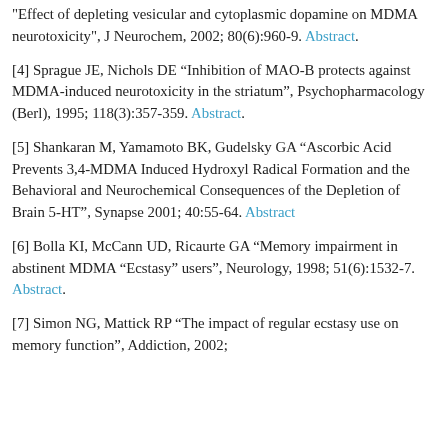Effect of depleting vesicular and cytoplasmic dopamine on MDMA neurotoxicity", J Neurochem, 2002; 80(6):960-9. Abstract.
[4] Sprague JE, Nichols DE “Inhibition of MAO-B protects against MDMA-induced neurotoxicity in the striatum”, Psychopharmacology (Berl), 1995; 118(3):357-359. Abstract.
[5] Shankaran M, Yamamoto BK, Gudelsky GA “Ascorbic Acid Prevents 3,4-MDMA Induced Hydroxyl Radical Formation and the Behavioral and Neurochemical Consequences of the Depletion of Brain 5-HT”, Synapse 2001; 40:55-64. Abstract
[6] Bolla KI, McCann UD, Ricaurte GA “Memory impairment in abstinent MDMA “Ecstasy” users”, Neurology, 1998; 51(6):1532-7. Abstract.
[7] Simon NG, Mattick RP “The impact of regular ecstasy use on memory function”, Addiction, 2002;